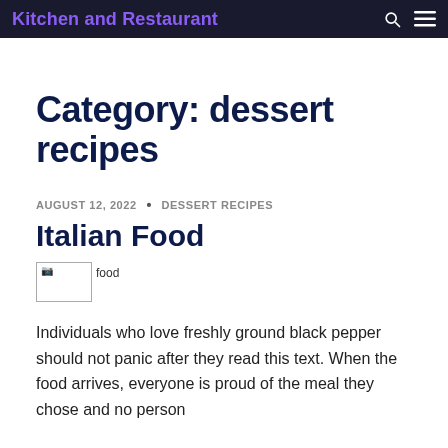Kitchen and Restaurant
Category: dessert recipes
AUGUST 12, 2022 • DESSERT RECIPES
Italian Food
[Figure (photo): Broken image placeholder with alt text 'food']
Individuals who love freshly ground black pepper should not panic after they read this text. When the food arrives, everyone is proud of the meal they chose and no person